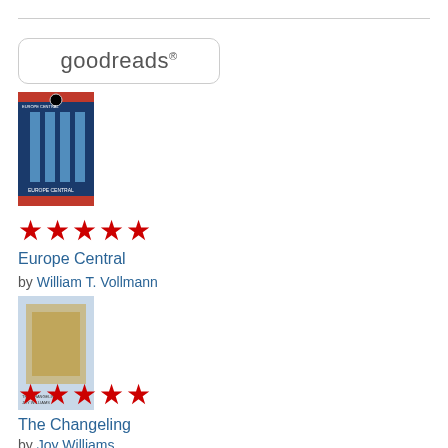[Figure (logo): Goodreads logo in rounded rectangle border]
[Figure (photo): Book cover for Europe Central — blue cover with architectural columns imagery]
★★★★★
Europe Central
by William T. Vollmann
[Figure (photo): Book cover for The Changeling — light blue cover with golden image]
★★★★★
The Changeling
by Joy Williams
[Figure (photo): Book cover for A Tomb for Boris Davidovich by Danilo Kiš — partial view at bottom]